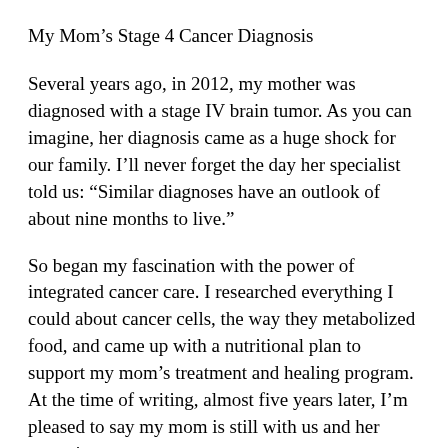My Mom’s Stage 4 Cancer Diagnosis
Several years ago, in 2012, my mother was diagnosed with a stage IV brain tumor. As you can imagine, her diagnosis came as a huge shock for our family. I’ll never forget the day her specialist told us: “Similar diagnoses have an outlook of about nine months to live.”
So began my fascination with the power of integrated cancer care. I researched everything I could about cancer cells, the way they metabolized food, and came up with a nutritional plan to support my mom’s treatment and healing program. At the time of writing, almost five years later, I’m pleased to say my mom is still with us and her commitment